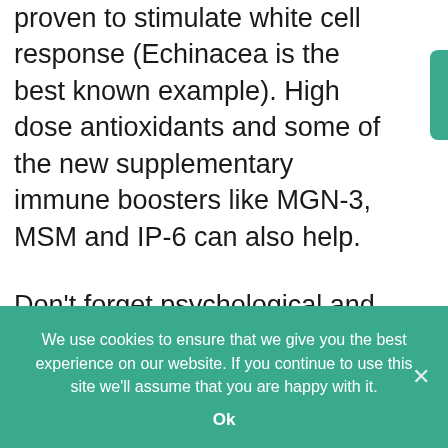proven to stimulate white cell response (Echinacea is the best known example). High dose antioxidants and some of the new supplementary immune boosters like MGN-3, MSM and IP-6 can also help.
Don't forget psychological and healing techniques. Psychoneuroim munology techniques (such as visualisation) have been proven to boost the immune system, and healing has been documented to be effective both as a cure and in relieving the
We use cookies to ensure that we give you the best experience on our website. If you continue to use this site we'll assume that you are happy with it.
Ok